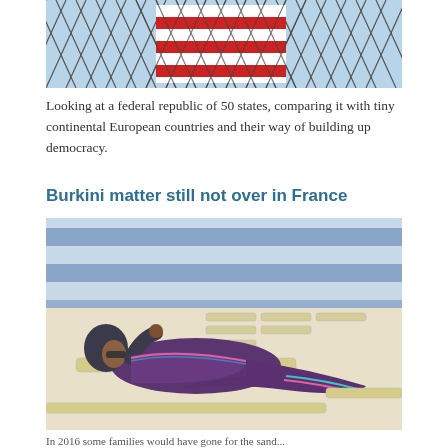[Figure (photo): Photo viewed through chain-link fence showing red and white striped fabric or clothing]
Looking at a federal republic of 50 states, comparing it with tiny continental European countries and their way of building up democracy.
Burkini matter still not over in France
[Figure (photo): Woman wearing a burkini (full-body modest swimwear in purple and dark grey) reclining on a lounge chair at a beach resort with striped umbrellas in background]
In 2016 some families would have gone for the sand...